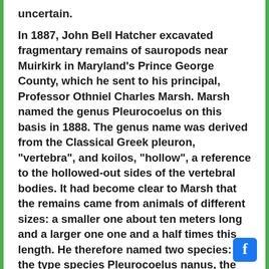uncertain.
In 1887, John Bell Hatcher excavated fragmentary remains of sauropods near Muirkirk in Maryland's Prince George County, which he sent to his principal, Professor Othniel Charles Marsh. Marsh named the genus Pleurocoelus on this basis in 1888. The genus name was derived from the Classical Greek pleuron, “vertebra”, and koilos, “hollow”, a reference to the hollowed-out sides of the vertebral bodies. It had become clear to Marsh that the remains came from animals of different sizes: a smaller one about ten meters long and a larger one one and a half times this length. He therefore named two species: the type species Pleurocoelus nanus, the “dwarf”, based on the syntypes USNM 4968, 4969 and 4970, three vertebrae, and Pleurocoelus altus, the “high”, based on USNM 4971, a partial tibia and fibula.
In 1889 British paleontologist Richard Lydekker